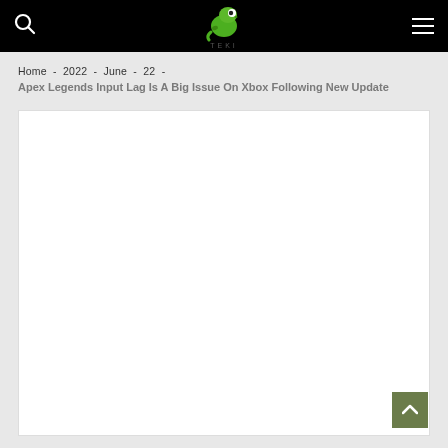Home - 2022 - June - 22 - Apex Legends Input Lag Is A Big Issue On Xbox Following New Update
[Figure (logo): Green cartoon dinosaur logo with site name below, centered in black header bar]
Home  -  2022  -  June  -  22  -
Apex Legends Input Lag Is A Big Issue On Xbox Following New Update
[Figure (photo): Large white/blank content image area below the breadcrumb navigation]